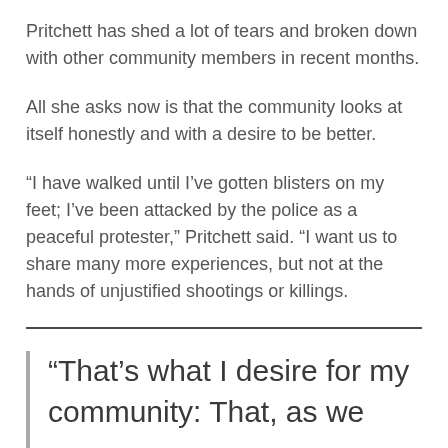Pritchett has shed a lot of tears and broken down with other community members in recent months.
All she asks now is that the community looks at itself honestly and with a desire to be better.
“I have walked until I’ve gotten blisters on my feet; I’ve been attacked by the police as a peaceful protester,” Pritchett said. “I want us to share many more experiences, but not at the hands of unjustified shootings or killings.
“That’s what I desire for my community: That, as we